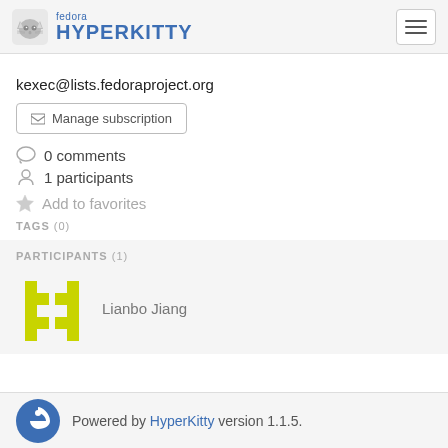fedora HYPERKITTY
kexec@lists.fedoraproject.org
Manage subscription
0 comments
1 participants
Add to favorites
TAGS (0)
PARTICIPANTS (1)
Lianbo Jiang
Powered by HyperKitty version 1.1.5.